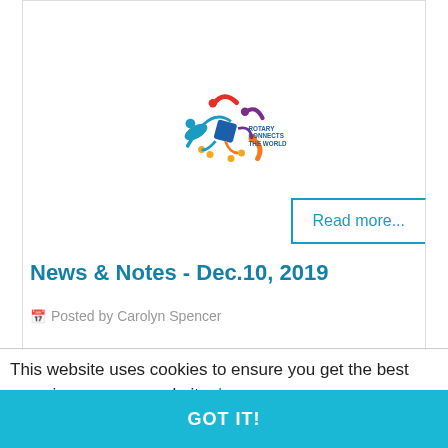[Figure (logo): Rotary International 'Rotary Connects the World' logo — colorful swirling figures in blue, red, purple, orange, yellow with text 'ROTARY CONNECTS THE WORLD' in blue]
Read more...
News & Notes - Dec.10, 2019
Posted by Carolyn Spencer
This website uses cookies to ensure you get the best experience on our website. Learn more
GOT IT!